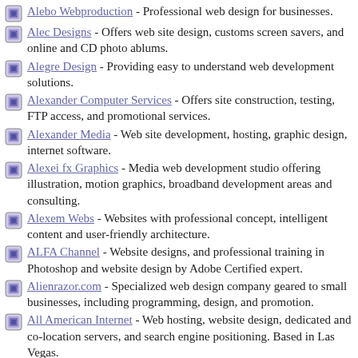Alebo Webproduction - Professional web design for businesses.
Alec Designs - Offers web site design, customs screen savers, and online and CD photo ablums.
Alegre Design - Providing easy to understand web development solutions.
Alexander Computer Services - Offers site construction, testing, FTP access, and promotional services.
Alexander Media - Web site development, hosting, graphic design, internet software.
Alexei fx Graphics - Media web development studio offering illustration, motion graphics, broadband development areas and consulting.
Alexem Webs - Websites with professional concept, intelligent content and user-friendly architecture.
ALFA Channel - Website designs, and professional training in Photoshop and website design by Adobe Certified expert.
Alienrazor.com - Specialized web design company geared to small businesses, including programming, design, and promotion.
All American Internet - Web hosting, website design, dedicated and co-location servers, and search engine positioning. Based in Las Vegas.
All Around Computer Services - Offers a custom site.
All Computing Solutions - Offers design, maintenance and